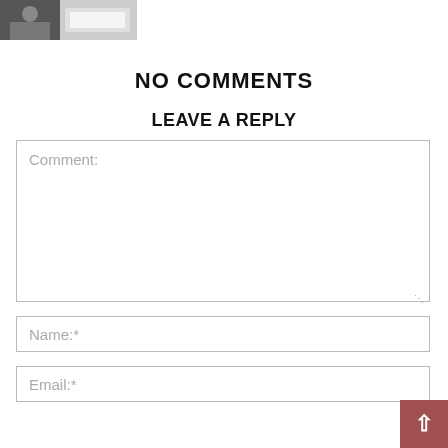[Figure (photo): Small thumbnail image of a person working at a laptop, partially visible at top left corner]
NO COMMENTS
LEAVE A REPLY
Comment:
Name:*
Email:*